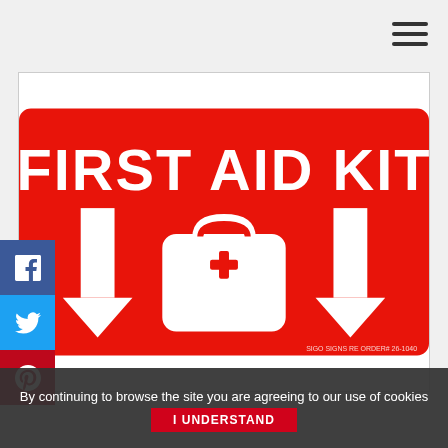[Figure (illustration): Red First Aid Kit sign with white bold text reading FIRST AID KIT, two downward-pointing arrows on left and right sides, and a white first aid kit icon in the center with a red cross symbol. Small text at bottom right reads: SIGO SIGNS RE ORDER# 26-1040]
By continuing to browse the site you are agreeing to our use of cookies
I UNDERSTAND